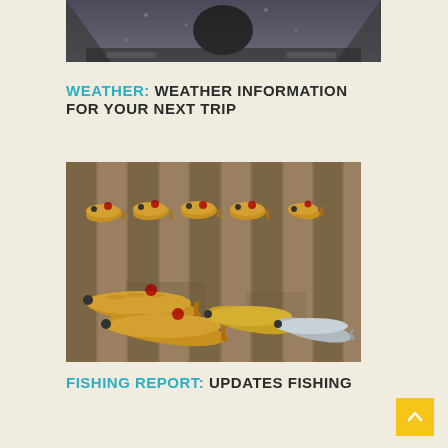[Figure (photo): Top portion of a photo showing what appears to be a boat interior viewed through a rain-covered windshield, dark tones]
WEATHER: WEATHER INFORMATION FOR YOUR NEXT TRIP
[Figure (photo): Multiple red drum / redfish laid out on a wooden dock, golden-orange fish with red spots, some silver fish]
FISHING REPORT: UPDATES FISHING